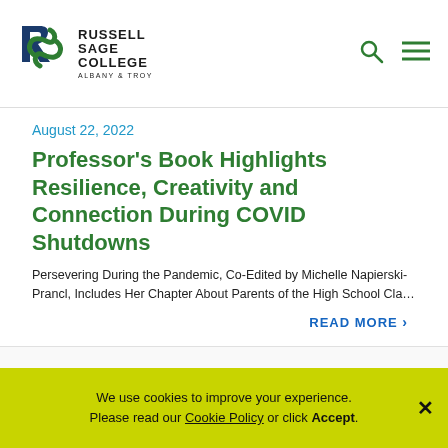Russell Sage College Albany & Troy
August 22, 2022
Professor's Book Highlights Resilience, Creativity and Connection During COVID Shutdowns
Persevering During the Pandemic, Co-Edited by Michelle Napierski-Prancl, Includes Her Chapter About Parents of the High School Cla...
READ MORE
August 15, 2022
Russell Sage College Professor Honored by
We use cookies to improve your experience. Please read our Cookie Policy or click Accept.